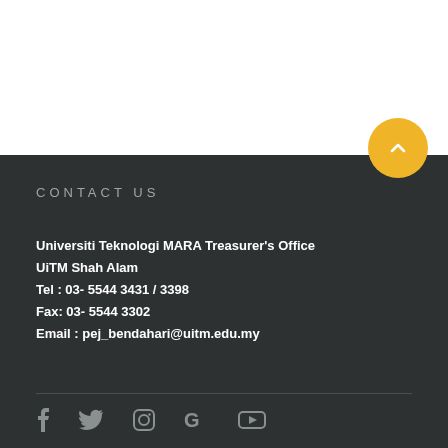CONTACT US
Universiti Teknologi MARA Treasurer's Office
UiTM Shah Alam
Tel : 03- 5544 3431 / 3398
Fax: 03- 5544 3302
Email : pej_bendahari@uitm.edu.my
[Figure (illustration): Social media icons row: Facebook, Twitter, Instagram, Google, YouTube]